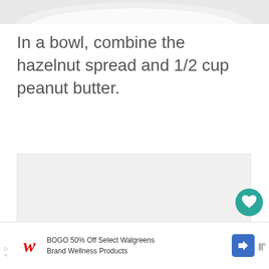[Figure (photo): Top portion of a photo showing a bowl with creamy mixture, partially cropped at top of page]
In a bowl, combine the hazelnut spread and 1/2 cup peanut butter.
[Figure (photo): Large light gray placeholder area for a recipe step photo]
[Figure (other): Interactive UI buttons: teal heart/favorite button, count showing 1, and share button on right side]
[Figure (other): Advertisement banner: Walgreens BOGO 50% Off Select Walgreens Brand Wellness Products ad with logo and navigation icon]